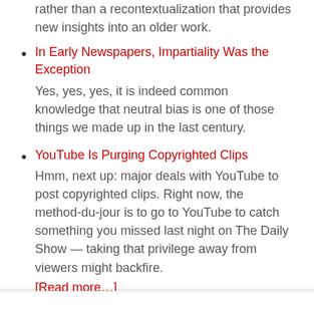rather than a recontextualization that provides new insights into an older work.
In Early Newspapers, Impartiality Was the Exception
Yes, yes, yes, it is indeed common knowledge that neutral bias is one of those things we made up in the last century.
YouTube Is Purging Copyrighted Clips
Hmm, next up: major deals with YouTube to post copyrighted clips. Right now, the method-du-jour is to go to YouTube to catch something you missed last night on The Daily Show — taking that privilege away from viewers might backfire. [Read more…]